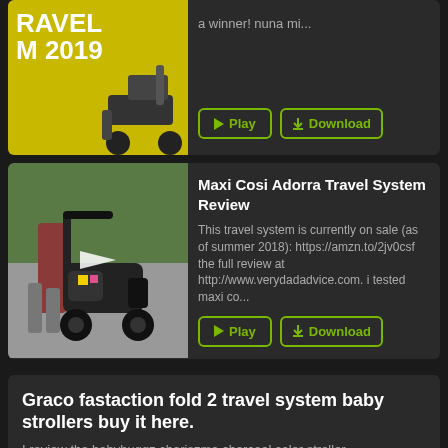[Figure (screenshot): Partial top card showing yellow/green travel system thumbnail with text 'RAVEL M 2019' and a stroller wheel visible on the right side]
a winner! nuna mi...
Play
Download
[Figure (photo): Photo of a person pushing a Maxi Cosi Adorra stroller on a sidewalk, with grass in background. White play triangle overlay in center.]
Maxi Cosi Adorra Travel System Review
This travel system is currently on sale (as of summer 2018): https://amzn.to/2jv0csf the full review at http://www.verydadadvice.com. i tested maxi co...
Play
Download
Graco fastaction fold 2 travel system baby strollers buy it here.
I review the babybuggz chariszma charcoal color stroller.